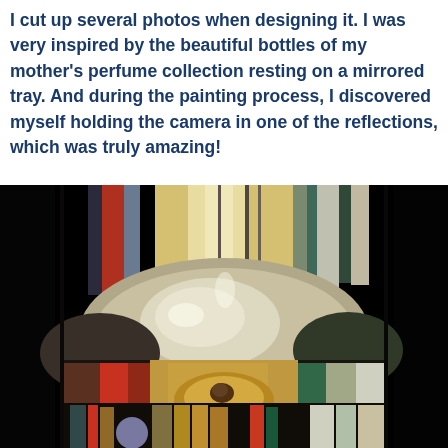I cut up several photos when designing it. I was very inspired by the beautiful bottles of my mother's perfume collection resting on a mirrored tray. And during the painting process, I discovered myself holding the camera in one of the reflections, which was truly amazing!
[Figure (photo): A painting or photograph of a reflective perfume bottle with distorted colorful reflections on a black background, showing bottles, brushes, and various objects reflected in the chrome surface.]